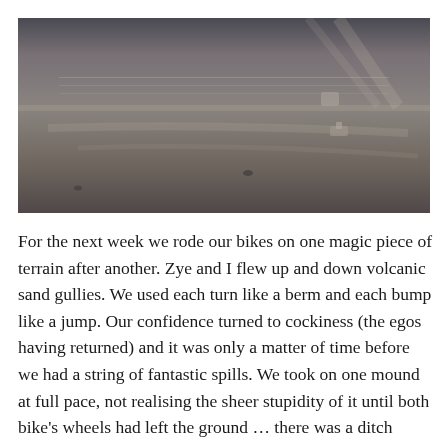[Figure (photo): A wide, dark landscape photograph showing a vast flat terrain or water surface under an overcast sky. A small vehicle or boat is visible in the right-center of the image. The scene is moody and desaturated, with muted grays and browns.]
For the next week we rode our bikes on one magic piece of terrain after another. Zye and I flew up and down volcanic sand gullies. We used each turn like a berm and each bump like a jump. Our confidence turned to cockiness (the egos having returned) and it was only a matter of time before we had a string of fantastic spills. We took on one mound at full pace, not realising the sheer stupidity of it until both bike's wheels had left the ground … there was a ditch behind the mound. I slammed into it and onto the dirt but somehow Zye managed to come out unscathed.